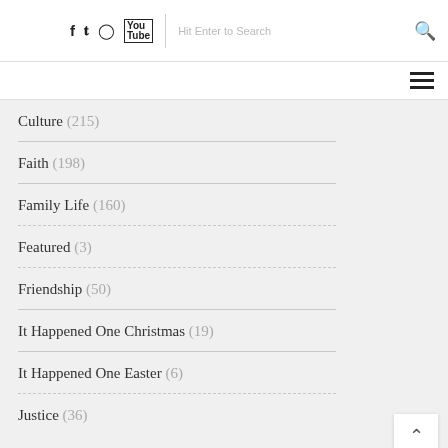f  tw  ig  yt  |  Hit Enter to Search  [search icon]  [hamburger menu]
Culture (215)
Faith (198)
Family Life (160)
Featured (3)
Friendship (50)
It Happened One Christmas (19)
It Happened One Easter (6)
Justice (36)